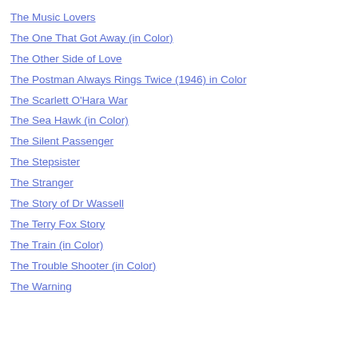The Music Lovers
The One That Got Away (in Color)
The Other Side of Love
The Postman Always Rings Twice (1946) in Color
The Scarlett O'Hara War
The Sea Hawk (in Color)
The Silent Passenger
The Stepsister
The Stranger
The Story of Dr Wassell
The Terry Fox Story
The Train (in Color)
The Trouble Shooter (in Color)
The Warning